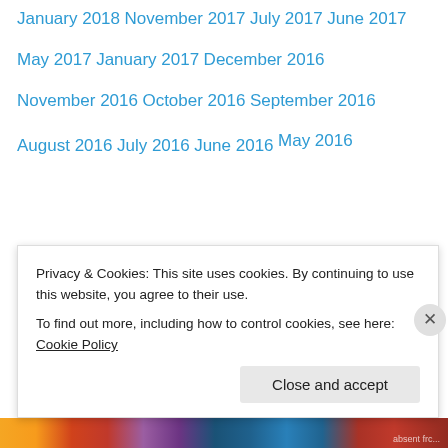January 2018
November 2017
July 2017
June 2017
May 2017
January 2017
December 2016
November 2016
October 2016
September 2016
August 2016
July 2016
June 2016
May 2016
Privacy & Cookies: This site uses cookies. By continuing to use this website, you agree to their use.
To find out more, including how to control cookies, see here: Cookie Policy